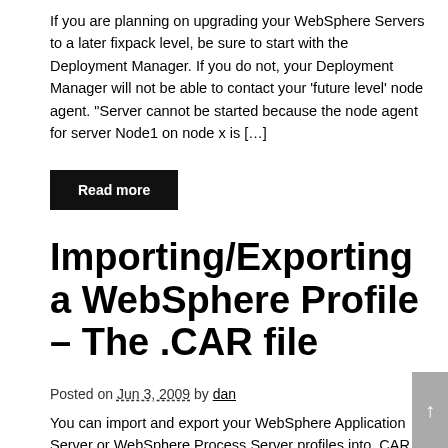If you are planning on upgrading your WebSphere Servers to a later fixpack level, be sure to start with the Deployment Manager. If you do not, your Deployment Manager will not be able to contact your ‘future level’ node agent. “Server cannot be started because the node agent for server Node1 on node x is […]
Read more
Importing/Exporting a WebSphere Profile – The .CAR file
Posted on Jun 3, 2009 by dan
You can import and export your WebSphere Application Server or WebSphere Process Server profiles into .CAR archive files. Importing and exporting version 6 WebSphere Application Server profiles provides the specific wsadmin (or